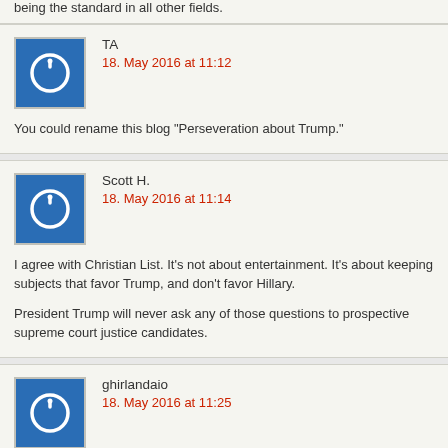being the standard in all other fields.
TA
18. May 2016 at 11:12
You could rename this blog “Perseveration about Trump.”
Scott H.
18. May 2016 at 11:14
I agree with Christian List. It’s not about entertainment. It’s about keeping subjects that favor Trump, and don’t favor Hillary.
President Trump will never ask any of those questions to prospective supreme court justice candidates.
ghirlandaio
18. May 2016 at 11:25